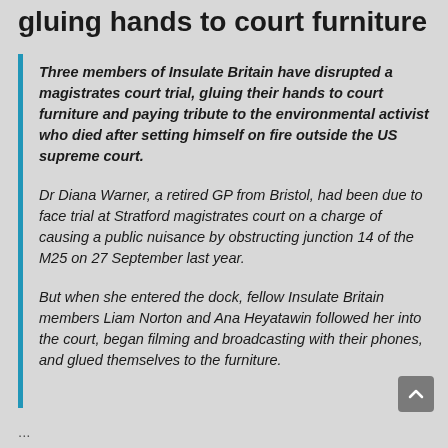gluing hands to court furniture
Three members of Insulate Britain have disrupted a magistrates court trial, gluing their hands to court furniture and paying tribute to the environmental activist who died after setting himself on fire outside the US supreme court.
Dr Diana Warner, a retired GP from Bristol, had been due to face trial at Stratford magistrates court on a charge of causing a public nuisance by obstructing junction 14 of the M25 on 27 September last year.
But when she entered the dock, fellow Insulate Britain members Liam Norton and Ana Heyatawin followed her into the court, began filming and broadcasting with their phones, and glued themselves to the furniture.
...